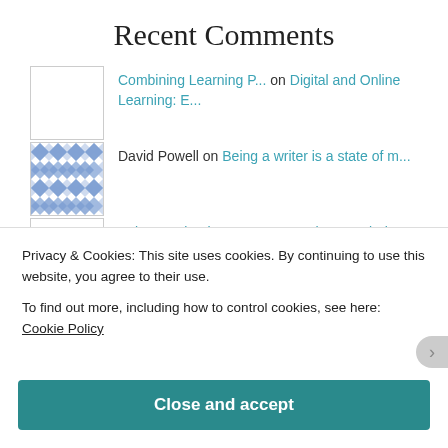Recent Comments
Combining Learning P... on Digital and Online Learning: E...
David Powell on Being a writer is a state of m...
Being a writer is a... on FE Teachers exploring identity...
ltaylerson on Blended Learning news from the...
Privacy & Cookies: This site uses cookies. By continuing to use this website, you agree to their use.
To find out more, including how to control cookies, see here: Cookie Policy
Close and accept